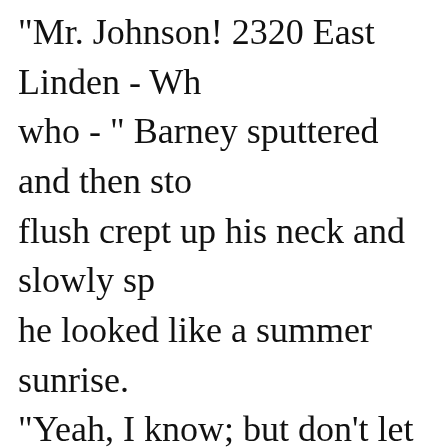"Mr. Johnson! 2320 East Linden - Who - " Barney sputtered and then stopped. A flush crept up his neck and slowly spread until he looked like a summer sunrise. "Yeah, I know; but don't let it throw you," kindly. "He told me that he had let the work on it a couple of months, ago, and you lived at 2318 East Linden."